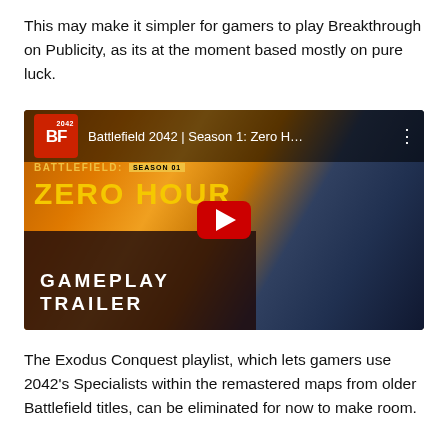This may make it simpler for gamers to play Breakthrough on Publicity, as its at the moment based mostly on pure luck.
[Figure (screenshot): YouTube video thumbnail for Battlefield 2042 Season 1: Zero Hour Gameplay Trailer, showing a soldier with a weapon, yellow ZERO HOUR text, and a red YouTube play button.]
The Exodus Conquest playlist, which lets gamers use 2042's Specialists within the remastered maps from older Battlefield titles, can be eliminated for now to make room.